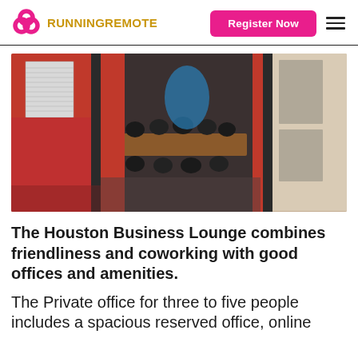RUNNING REMOTE | Register Now
[Figure (photo): Interior of Houston Business Lounge showing red-paneled walls with open conference room containing a long wooden table and black office chairs, and a corridor with light wood flooring.]
The Houston Business Lounge combines friendliness and coworking with good offices and amenities.
The Private office for three to five people includes a spacious reserved office, online